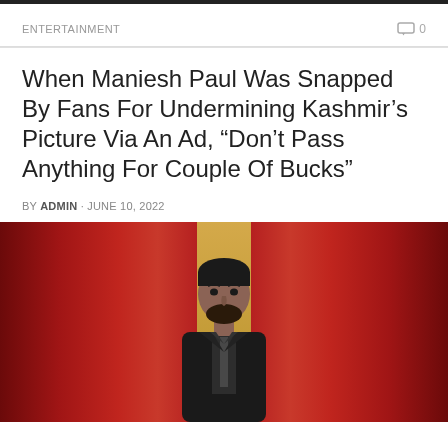ENTERTAINMENT   0
When Maniesh Paul Was Snapped By Fans For Undermining Kashmir’s Picture Via An Ad, “Don’t Pass Anything For Couple Of Bucks”
BY ADMIN · JUNE 10, 2022
[Figure (photo): Photo of Maniesh Paul in a dark embroidered suit, standing in front of red velvet curtains]